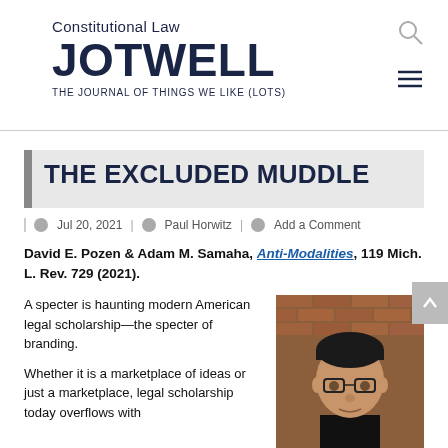Constitutional Law JOTWELL THE JOURNAL OF THINGS WE LIKE (LOTS)
THE EXCLUDED MUDDLE
Jul 20, 2021 | Paul Horwitz | Add a Comment
David E. Pozen & Adam M. Samaha, Anti-Modalities, 119 Mich. L. Rev. 729 (2021).
A specter is haunting modern American legal scholarship—the specter of branding.
Whether it is a marketplace of ideas or just a marketplace, legal scholarship today overflows with
[Figure (photo): Headshot of a man with glasses in front of a brick wall background]